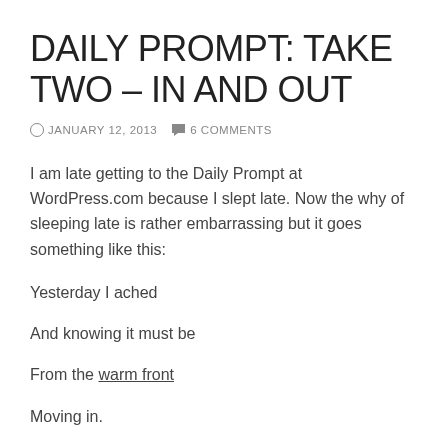DAILY PROMPT: TAKE TWO – IN AND OUT
JANUARY 12, 2013   6 COMMENTS
I am late getting to the Daily Prompt at WordPress.com because I slept late.  Now the why of sleeping late is rather embarrassing but it goes something like this:
Yesterday I ached
And knowing it must be
From the warm front
Moving in.
So as I finished